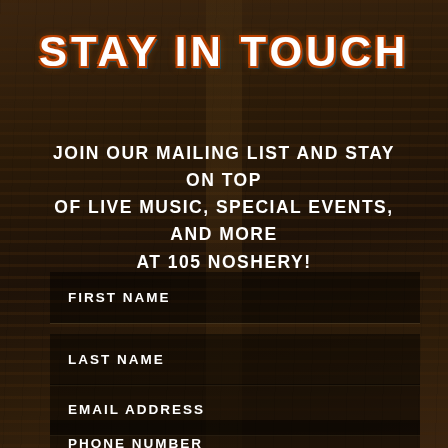STAY IN TOUCH
JOIN OUR MAILING LIST AND STAY ON TOP OF LIVE MUSIC, SPECIAL EVENTS, AND MORE AT 105 NOSHERY!
FIRST NAME
LAST NAME
EMAIL ADDRESS
PHONE NUMBER